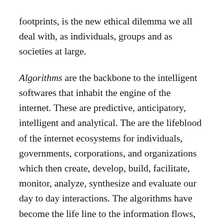footprints, is the new ethical dilemma we all deal with, as individuals, groups and as societies at large.
Algorithms are the backbone to the intelligent softwares that inhabit the engine of the internet. These are predictive, anticipatory, intelligent and analytical. The are the lifeblood of the internet ecosystems for individuals, governments, corporations, and organizations which then create, develop, build, facilitate, monitor, analyze, synthesize and evaluate our day to day interactions. The algorithms have become the life line to the information flows, ethics, utilities and appliances.
These words are not the definitive list, but reflect a